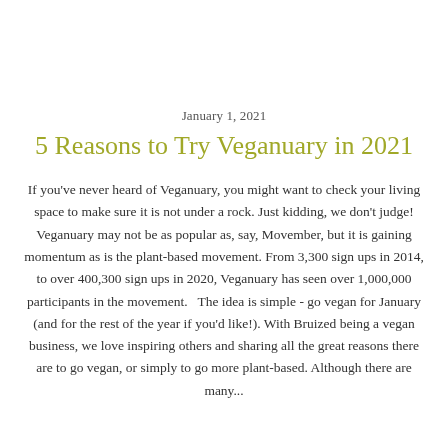January 1, 2021
5 Reasons to Try Veganuary in 2021
If you've never heard of Veganuary, you might want to check your living space to make sure it is not under a rock. Just kidding, we don't judge! Veganuary may not be as popular as, say, Movember, but it is gaining momentum as is the plant-based movement. From 3,300 sign ups in 2014, to over 400,300 sign ups in 2020, Veganuary has seen over 1,000,000 participants in the movement.   The idea is simple - go vegan for January (and for the rest of the year if you'd like!). With Bruized being a vegan business, we love inspiring others and sharing all the great reasons there are to go vegan, or simply to go more plant-based. Although there are many...